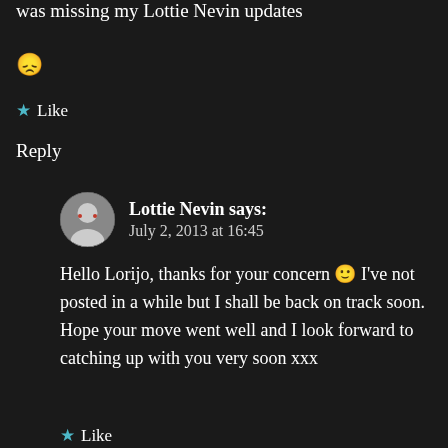was missing my Lottie Nevin updates 😞
★ Like
Reply
Lottie Nevin says: July 2, 2013 at 16:45
Hello Lorijo, thanks for your concern 🙂 I've not posted in a while but I shall be back on track soon. Hope your move went well and I look forward to catching up with you very soon xxx
★ Like